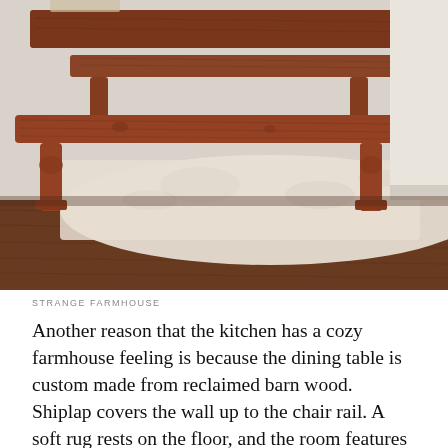[Figure (photo): Rustic wooden farmhouse dining benches on a soft light-colored rug over dark hardwood floors, with a wooden dining table partially visible in the background against a white wall.]
STRANGE FARMHOUSE
Another reason that the kitchen has a cozy farmhouse feeling is because the dining table is custom made from reclaimed barn wood. Shiplap covers the wall up to the chair rail. A soft rug rests on the floor, and the room features an exquisite glass and wrought-iron chandelier. Spend some time at www.strangefarmhouse.com for tips and more information about the room and more.